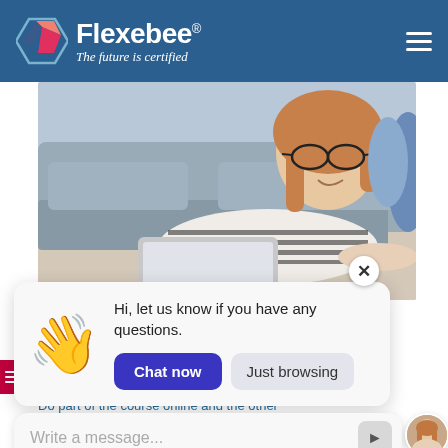[Figure (logo): Flexebee logo with hexagon icon and tagline 'The future is certified' on a blue header bar]
[Figure (photo): Young woman with glasses lying on floor using a laptop, casual home setting with sofa in background]
Hi, let us know if you have any questions.
Chat now
Just browsing
Do part of the course online and the other
Write a message...
READ MORE →